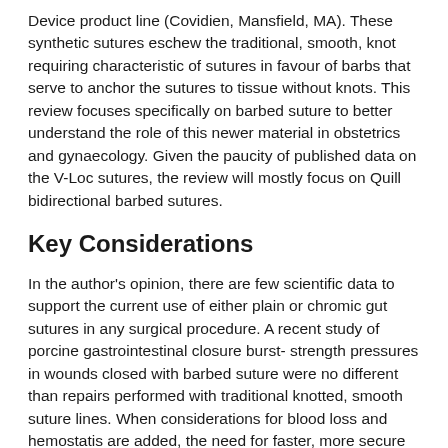Device product line (Covidien, Mansfield, MA). These synthetic sutures eschew the traditional, smooth, knot requiring characteristic of sutures in favour of barbs that serve to anchor the sutures to tissue without knots. This review focuses specifically on barbed suture to better understand the role of this newer material in obstetrics and gynaecology. Given the paucity of published data on the V-Loc sutures, the review will mostly focus on Quill bidirectional barbed sutures.
Key Considerations
In the author's opinion, there are few scientific data to support the current use of either plain or chromic gut sutures in any surgical procedure. A recent study of porcine gastrointestinal closure burst- strength pressures in wounds closed with barbed suture were no different than repairs performed with traditional knotted, smooth suture lines. When considerations for blood loss and hemostatis are added, the need for faster, more secure suture lines becomes readily apparent. To this end, barbed suture materials are an ideal solution. As with myomectomy